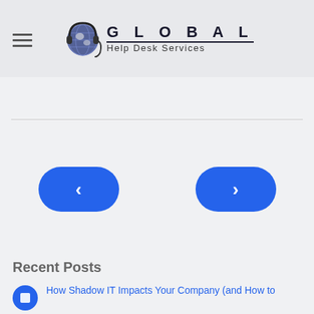[Figure (logo): Global Help Desk Services logo with globe icon wearing headphones, company name in large spaced letters with 'Help Desk Services' subtitle]
[Figure (other): Two blue rounded rectangle navigation buttons: left arrow (previous) and right arrow (next) for a slider/carousel]
Recent Posts
How Shadow IT Impacts Your Company (and How to